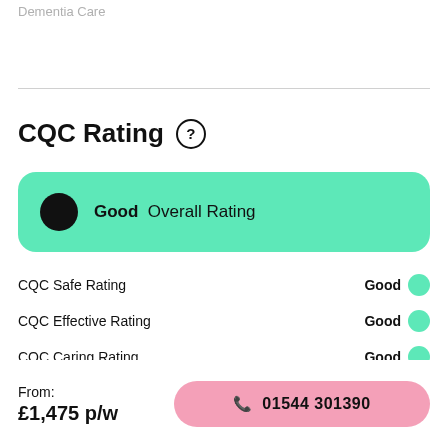Dementia Care
CQC Rating ?
Good  Overall Rating
CQC Safe Rating  Good
CQC Effective Rating  Good
CQC Caring Rating  Good
From: £1,475 p/w
01544 301390